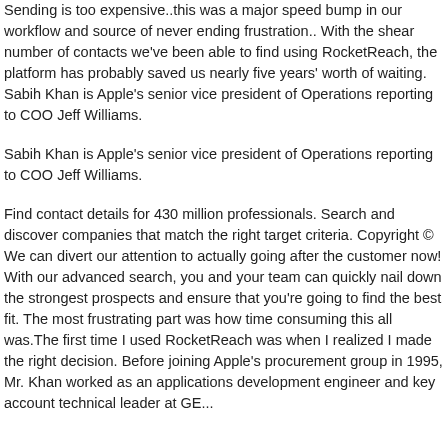Sending is too expensive..this was a major speed bump in our workflow and source of never ending frustration.. With the shear number of contacts we've been able to find using RocketReach, the platform has probably saved us nearly five years' worth of waiting. Sabih Khan is Apple's senior vice president of Operations reporting to COO Jeff Williams.
Sabih Khan is Apple's senior vice president of Operations reporting to COO Jeff Williams.
Find contact details for 430 million professionals. Search and discover companies that match the right target criteria. Copyright © We can divert our attention to actually going after the customer now! With our advanced search, you and your team can quickly nail down the strongest prospects and ensure that you're going to find the best fit. The most frustrating part was how time consuming this all was.The first time I used RocketReach was when I realized I made the right decision. Before joining Apple's procurement group in 1995, Mr. Khan worked as an applications development engineer and key account technical leader at GE...